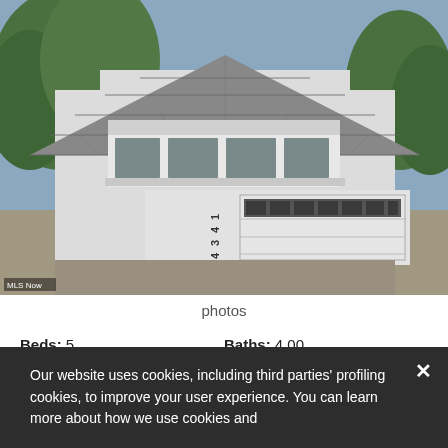[Figure (photo): Exterior photo of a two-story white house with gray shingle roof, large garage door with windows, address number 1434 visible, trees in background, MLS Now watermark at bottom left]
photos
Beds: 5
Baths: 4.00
Sq.Ft.: 2,352
Status: NEW LISTING
Our website uses cookies, including third parties' profiling cookies, to improve your user experience. You can learn more about how we use cookies and